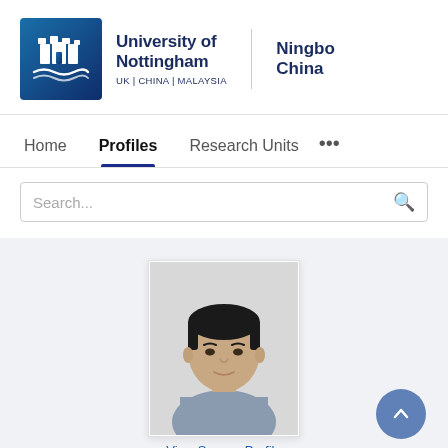[Figure (logo): University of Nottingham Ningbo China logo with castle icon, text 'University of Nottingham | UK | CHINA | MALAYSIA' and 'Ningbo China']
Home
Profiles
Research Units
...
Search...
[Figure (photo): Headshot photo of a young Asian man wearing a grey collared shirt, short black hair, neutral expression, white background]
View Scopus Profile